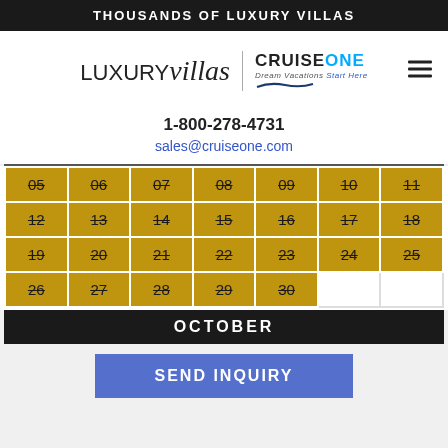THOUSANDS OF LUXURY VILLAS
[Figure (logo): LUXURYvillas logo with CruiseOne Dream Vacations Start Here logo and hamburger menu icon]
1-800-278-4731
sales@cruiseone.com
| 05 | 06 | 07 | 08 | 09 | 10 | 11 |
| 12 | 13 | 14 | 15 | 16 | 17 | 18 |
| 19 | 20 | 21 | 22 | 23 | 24 | 25 |
| 26 | 27 | 28 | 29 | 30 |  |  |
OCTOBER
SEND INQUIRY